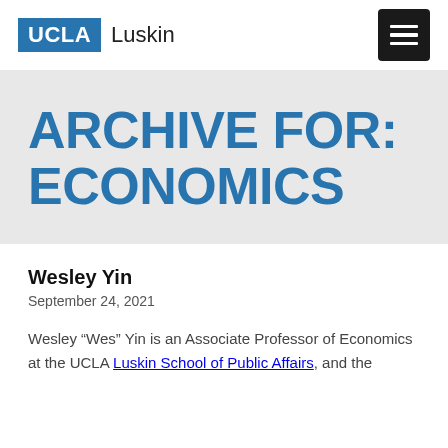UCLA Luskin
ARCHIVE FOR: ECONOMICS
Wesley Yin
September 24, 2021
Wesley “Wes” Yin is an Associate Professor of Economics at the UCLA Luskin School of Public Affairs, and the